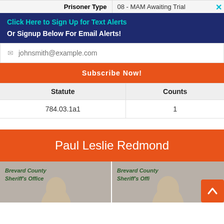| Prisoner Type | 08 - MAM Awaiting Trial |
| --- | --- |
Click Here to Sign Up for Text Alerts
Or Signup Below For Email Alerts!
johnsmith@example.com
Subscribe Now!
| Statute | Counts |
| --- | --- |
| 784.03.1a1 | 1 |
Paul Leslie Redmond
[Figure (photo): Mugshot photo 1 - Brevard County Sheriff's Office]
[Figure (photo): Mugshot photo 2 - Brevard County Sheriff's Office (partially obscured by back-to-top button)]